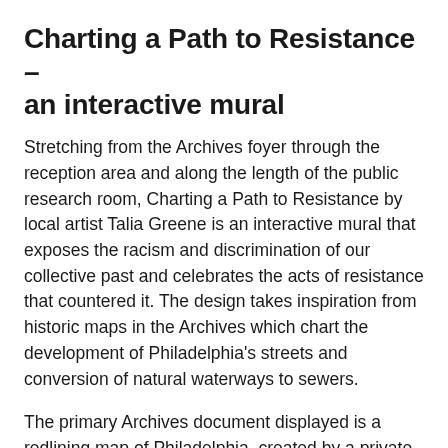Charting a Path to Resistance – an interactive mural
Stretching from the Archives foyer through the reception area and along the length of the public research room, Charting a Path to Resistance by local artist Talia Greene is an interactive mural that exposes the racism and discrimination of our collective past and celebrates the acts of resistance that countered it. The design takes inspiration from historic maps in the Archives which chart the development of Philadelphia's streets and conversion of natural waterways to sewers.
The primary Archives document displayed is a redlining map of Philadelphia, created by a private company and shared with the City in 1944. Archives documents at the beginning of the piece tell viewers the story of housing discrimination through the 1960s.  As the mural moves